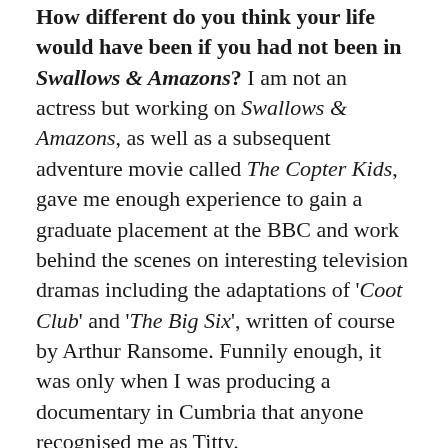How different do you think your life would have been if you had not been in Swallows & Amazons?  I am not an actress but working on Swallows & Amazons, as well as a subsequent adventure movie called The Copter Kids, gave me enough experience to gain a graduate placement at the BBC and work behind the scenes on interesting television dramas including the adaptations of 'Coot Club' and 'The Big Six', written of course by Arthur Ransome.  Funnily enough, it was only when I was producing a documentary in Cumbria that anyone recognised me as Titty.
How different do you think your life would have been without the publicity that the film has brought you? While publicity generated